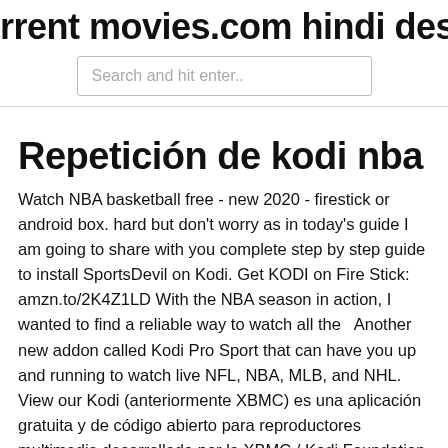rrent movies.com hindi descarga gra
Search and hit enter..
Repetición de kodi nba
Watch NBA basketball free - new 2020 - firestick or android box. hard but don't worry as in today's guide I am going to share with you complete step by step guide to install SportsDevil on Kodi. Get KODI on Fire Stick: amzn.to/2K4Z1LD With the NBA season in action, I wanted to find a reliable way to watch all the   Another new addon called Kodi Pro Sport that can have you up and running to watch live NFL, NBA, MLB, and NHL. View our Kodi (anteriormente XBMC) es una aplicación gratuita y de código abierto para reproductores multimedia desarrollada por la XBMC / Kodi Foundation  Installation de Kodi+SMB+Transmission sur Raspberry Pi - Le Blog de Dorian. Tutoriel RPi sous Xbian. For